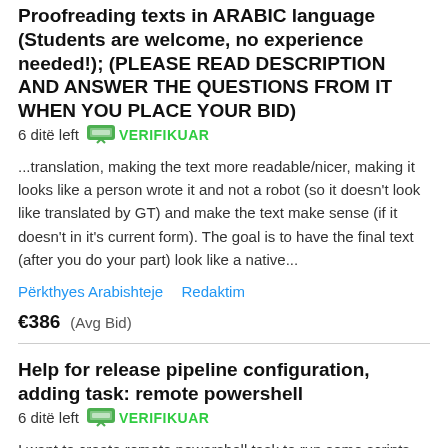Proofreading texts in ARABIC language (Students are welcome, no experience needed!); (PLEASE READ DESCRIPTION AND ANSWER THE QUESTIONS FROM IT WHEN YOU PLACE YOUR BID)  6 ditë left  VERIFIKUAR
...translation, making the text more readable/nicer, making it looks like a person wrote it and not a robot (so it doesn't look like translated by GT) and make the text make sense (if it doesn't in it's current form). The goal is to have the final text (after you do your part) look like a native...
Përkthyes Arabishteje   Redaktim
€386  (Avg Bid)
Help for release pipeline configuration, adding task: remote powershell  6 ditë left  VERIFIKUAR
I want to create remote powershell task to run some scripts on azure DevOps. Script is not important. I just